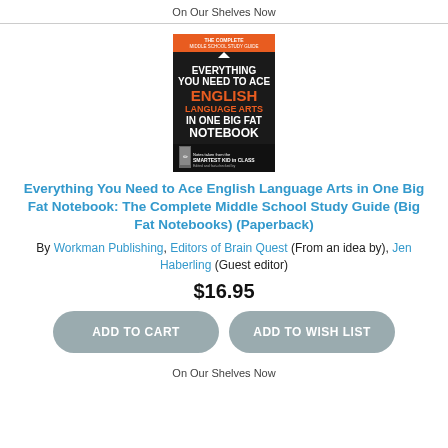On Our Shelves Now
[Figure (photo): Book cover: Everything You Need to Ace English Language Arts in One Big Fat Notebook]
Everything You Need to Ace English Language Arts in One Big Fat Notebook: The Complete Middle School Study Guide (Big Fat Notebooks) (Paperback)
By Workman Publishing, Editors of Brain Quest (From an idea by), Jen Haberling (Guest editor)
$16.95
ADD TO CART   ADD TO WISH LIST
On Our Shelves Now